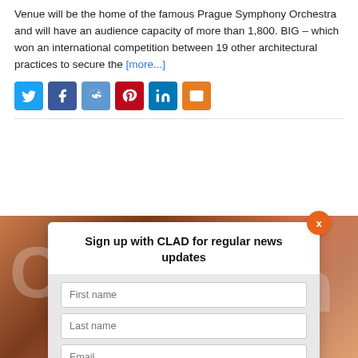Venue will be the home of the famous Prague Symphony Orchestra and will have an audience capacity of more than 1,800. BIG – which won an international competition between 19 other architectural practices to secure the [more...]
[Figure (screenshot): Social sharing buttons row: Twitter (light blue), Facebook (dark blue), Reddit (medium blue), Pinterest (red), LinkedIn (dark blue), Email (orange)]
[Figure (screenshot): Background photo of an indoor architectural/event space with warm orange and brown tones. Overlaid modal dialog: 'Sign up with CLAD for regular news updates' with First name, Last name, Email input fields and a SIGN UP button. Orange X close button in top-right corner of modal.]